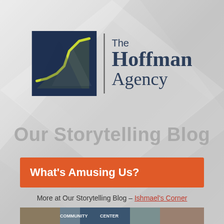[Figure (logo): The Hoffman Agency logo: dark navy square with yellow-green line chart icon, vertical divider, and text 'The Hoffman Agency' in navy serif font]
Our Storytelling Blog
What's Amusing Us?
More at Our Storytelling Blog – Ishmael's Corner
[Figure (photo): Partial photo of a community center sign and people, at the bottom of the page]